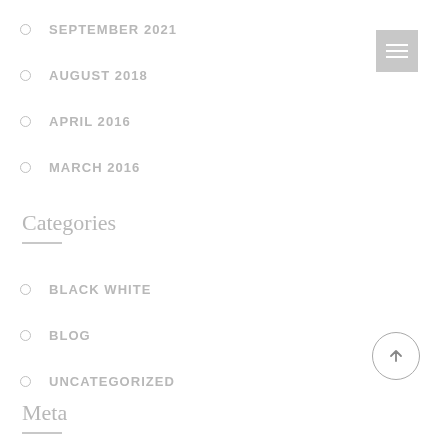SEPTEMBER 2021
AUGUST 2018
APRIL 2016
MARCH 2016
Categories
BLACK WHITE
BLOG
UNCATEGORIZED
Meta